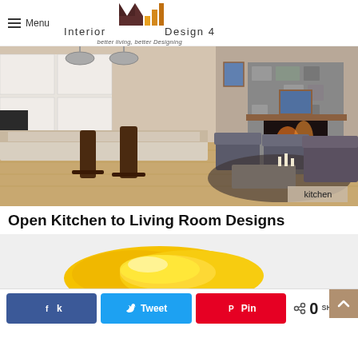Menu | Interior Design 4 — better living, better Designing
[Figure (photo): Open plan kitchen and living room interior with white kitchen cabinets, granite island with bar stools, hardwood floors, gray armchairs, stone fireplace, and sofa. Label 'kitchen' in bottom right corner.]
Open Kitchen to Living Room Designs
[Figure (photo): Partial view of a second image showing yellow rounded objects on a light background.]
0 SHARES
Facebook share button, Twitter share button, Pinterest share button, share count: 0 SHARES